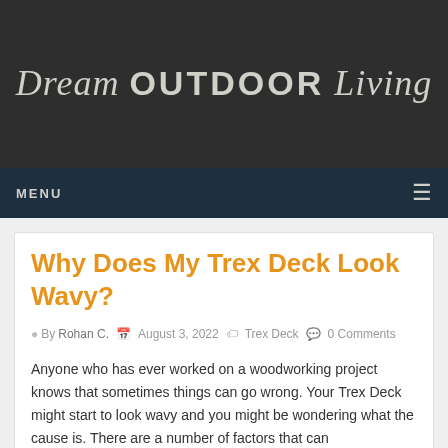Dream OUTDOOR Living
Why Does My Trex Deck Look Wavy?
By Rohan C.   August 3, 2022   Trex Deck   0 Comments
Anyone who has ever worked on a woodworking project knows that sometimes things can go wrong. Your Trex Deck might start to look wavy and you might be wondering what the cause is. There are a number of factors that can...